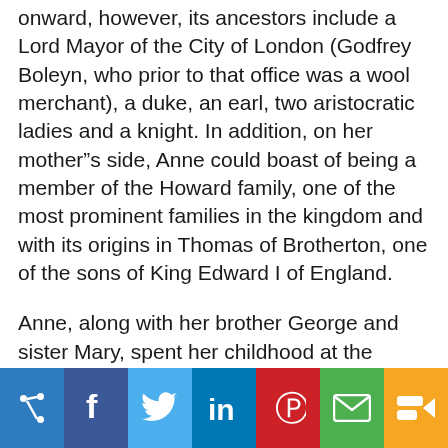onward, however, its ancestors include a Lord Mayor of the City of London (Godfrey Boleyn, who prior to that office was a wool merchant), a duke, an earl, two aristocratic ladies and a knight. In addition, on her mother’s side, Anne could boast of being a member of the Howard family, one of the most prominent families in the kingdom and with its origins in Thomas of Brotherton, one of the sons of King Edward I of England.
Anne, along with her brother George and sister Mary, spent her childhood at the family castle in Hever, Kent. She had at least two other brothers, Henry and Thomas, who did not survive childhood.
[Figure (infographic): Social sharing bar with icons for: share/addthis, Facebook, Twitter, LinkedIn, Pinterest, Email, and generic share. Colored buttons: blue, dark blue, light blue, LinkedIn blue, red, green, orange.]